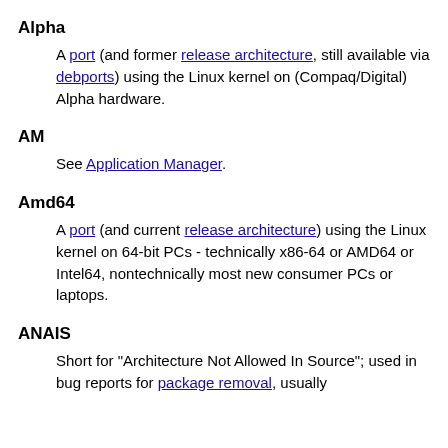Alpha
A port (and former release architecture, still available via debports) using the Linux kernel on (Compaq/Digital) Alpha hardware.
AM
See Application Manager.
Amd64
A port (and current release architecture) using the Linux kernel on 64-bit PCs - technically x86-64 or AMD64 or Intel64, nontechnically most new consumer PCs or laptops.
ANAIS
Short for "Architecture Not Allowed In Source"; used in bug reports for package removal, usually